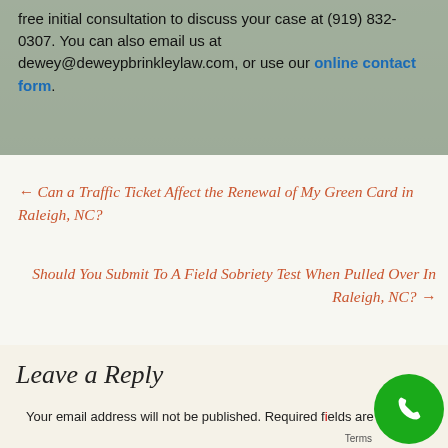free initial consultation to discuss your case at (919) 832-0307. You can also email us at dewey@deweypbrinkleylaw.com, or use our online contact form.
← Can a Traffic Ticket Affect the Renewal of My Green Card in Raleigh, NC?
Should You Submit To A Field Sobriety Test When Pulled Over In Raleigh, NC? →
Leave a Reply
Your email address will not be published. Required fields are marked *